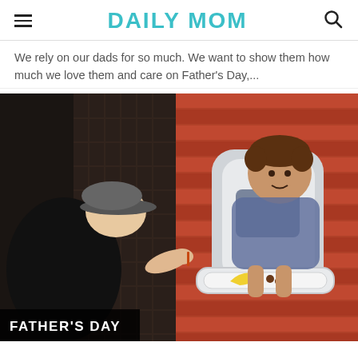DAILY MOM
We rely on our dads for so much. We want to show them how much we love them and care on Father's Day,...
[Figure (photo): A father leaning in to feed a baby sitting in a grey high chair with a tray holding a banana, in front of a red barn-style wall and decorative panel background. The father wears a dark cap and black t-shirt. A 'FATHER'S DAY' label overlays the bottom-left corner.]